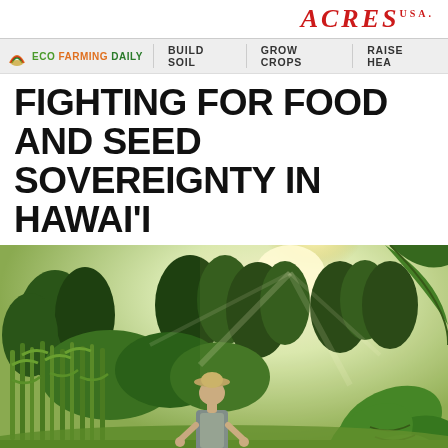ACRES USA.
ECO FARMING DAILY   BUILD SOIL   GROW CROPS   RAISE HEA
FIGHTING FOR FOOD AND SEED SOVEREIGNTY IN HAWAI'I
[Figure (photo): A person standing in lush green garden/farm in Hawaii, wearing a hat and apron, surrounded by tall corn plants, large-leafed plants (taro), and dense green vegetation, with trees in the background and bright sunlight.]